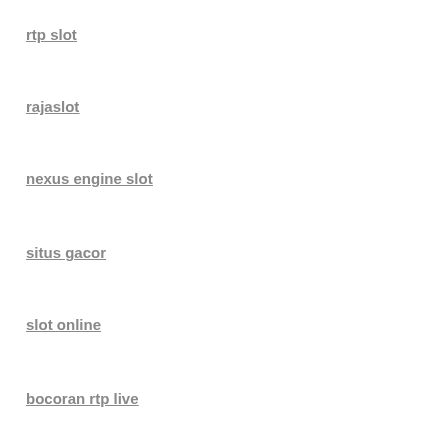rtp slot
rajaslot
nexus engine slot
situs gacor
slot online
bocoran rtp live